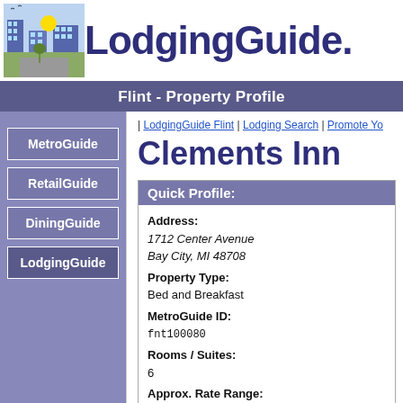LodgingGuide
Flint - Property Profile
MetroGuide
RetailGuide
DiningGuide
LodgingGuide
| LodgingGuide Flint | Lodging Search | Promote Yo
Clements Inn
Quick Profile:
Address:
1712 Center Avenue
Bay City, MI 48708
Property Type:
Bed and Breakfast
MetroGuide ID:
fnt100080
Rooms / Suites:
6
Approx. Rate Range:
From $75 to $190 per night*
Persons Associated:
n/a